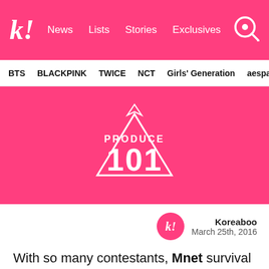k! News Lists Stories Exclusives
BTS BLACKPINK TWICE NCT Girls' Generation aespa
[Figure (logo): Produce 101 logo — white triangle outline with crown icon above and '101' text inside, on hot pink background]
Koreaboo
March 25th, 2016
With so many contestants, Mnet survival show Produce 101 often has a hard time giving trainees enough screen time.